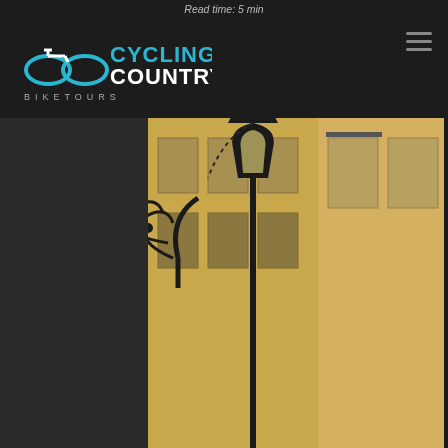Read time: 5 min
[Figure (logo): Cycling Country Bike Tours logo with infinity/bicycle symbol in teal and white text on dark background]
[Figure (photo): Street scene with ornate iron street lamp and sign bracket on yellow European building facades, with balcony visible]
[Figure (logo): Cycling Country small teal infinity/bicycle icon]
WHAT IS FADO?
S sadness of yesteryear. It literally means "fate" and is a singer (male or female) accompanied by a guitar very much like a mandolin in its teardrop shape and has sometimes a solo instrument. The music also is known as saudade which is a yearning for the past and
Cycling Country uses cookies on its website to make it function better. Please select your preferences. Find out more in our cookie policy.
Reject
Accept
Settings